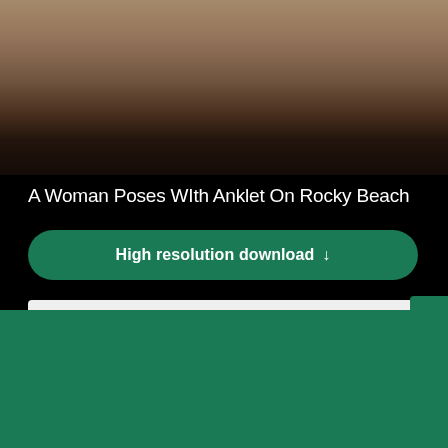[Figure (photo): Partial view of a rocky or sandy beach, blurred background, top portion of a photo of a woman with anklet on rocky beach]
A Woman Poses WIth Anklet On Rocky Beach
High resolution download ↓
[Figure (screenshot): Light gray placeholder image area below the download button]
[Figure (logo): Shopify logo - shopping bag icon with S and 'shopify' text in italic white]
Need an online store for your business?
Start free trial